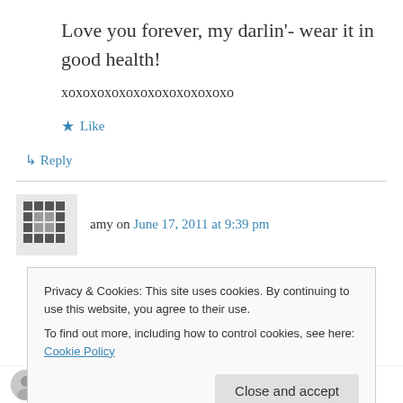Love you forever, my darlin'- wear it in good health!
xoxoxoxoxoxoxoxoxoxoxoxo
★ Like
↳ Reply
amy on June 17, 2011 at 9:39 pm
Ah such a great shirt. Made with love and totally unique and beautiful!
Privacy & Cookies: This site uses cookies. By continuing to use this website, you agree to their use.
To find out more, including how to control cookies, see here: Cookie Policy
Close and accept
tottietalkscrafts on June 18, 2011 at 9:27 am